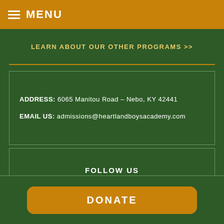MENU
LEARN ABOUT OUR OTHER PROGRAMS >>
ADDRESS: 6065 Manitou Road – Nebo, KY 42441
EMAIL US: admissions@heartlandboysacademy.com
FOLLOW US
[Figure (illustration): Facebook and Twitter social media icons in grey circles]
DONATE